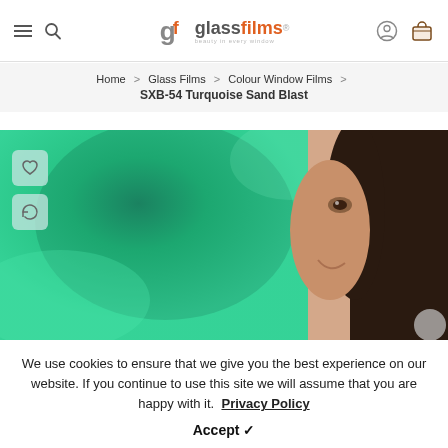glassfilms® — Navigation header with hamburger menu, search, logo, account and cart icons
Home > Glass Films > Colour Window Films > SXB-54 Turquoise Sand Blast
[Figure (photo): Product photo of SXB-54 Turquoise Sand Blast window film showing turquoise frosted glass on the left half and a woman's face smiling on the right half, with heart and refresh overlay buttons]
We use cookies to ensure that we give you the best experience on our website. If you continue to use this site we will assume that you are happy with it. Privacy Policy Accept ✓